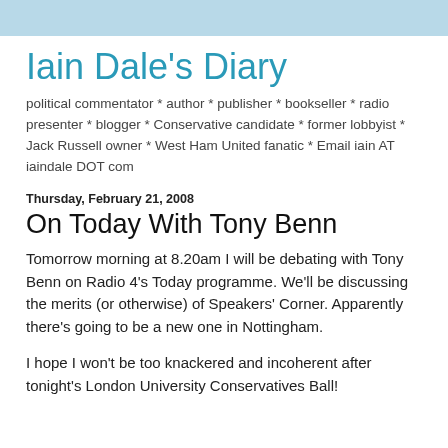Iain Dale's Diary
political commentator * author * publisher * bookseller * radio presenter * blogger * Conservative candidate * former lobbyist * Jack Russell owner * West Ham United fanatic * Email iain AT iaindale DOT com
Thursday, February 21, 2008
On Today With Tony Benn
Tomorrow morning at 8.20am I will be debating with Tony Benn on Radio 4's Today programme. We'll be discussing the merits (or otherwise) of Speakers' Corner. Apparently there's going to be a new one in Nottingham.
I hope I won't be too knackered and incoherent after tonight's London University Conservatives Ball!